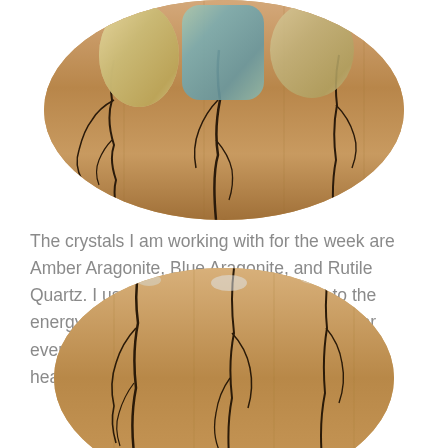[Figure (photo): Circular cropped photo of three crystal stones (Amber Aragonite, Blue Aragonite, Rutile Quartz) placed on a wooden board with dark lightning-bolt-like vein patterns]
The crystals I am working with for the week are Amber Aragonite, Blue Aragonite, and Rutile Quartz. I use these crystals to connect to the energy, to connect to the message meant for everyone who reads this, and to send you the healing energy of the crystals.
[Figure (photo): Circular cropped photo showing a close-up of the same wooden board with dark fractal vein patterns and crystal reflections, partially cropped at bottom of page]